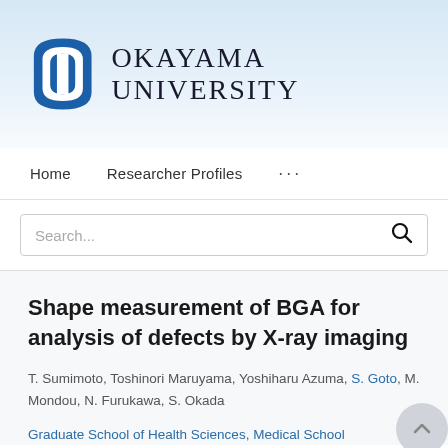[Figure (logo): Okayama University logo with blue shield/oval shape containing a white rectangle, alongside the text OKAYAMA UNIVERSITY in serif font]
Home   Researcher Profiles   ...
Search...
Shape measurement of BGA for analysis of defects by X-ray imaging
T. Sumimoto, Toshinori Maruyama, Yoshiharu Azuma, S. Goto, M. Mondou, N. Furukawa, S. Okada
Graduate School of Health Sciences, Medical School